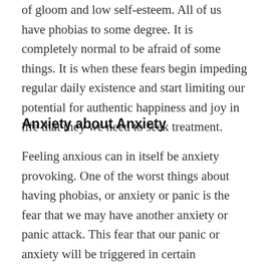of gloom and low self-esteem. All of us have phobias to some degree. It is completely normal to be afraid of some things. It is when these fears begin impeding regular daily existence and start limiting our potential for authentic happiness and joy in life that they we need to seek treatment.
Anxiety about Anxiety
Feeling anxious can in itself be anxiety provoking. One of the worst things about having phobias, or anxiety or panic is the fear that we may have another anxiety or panic attack. This fear that our panic or anxiety will be triggered in certain circumstances is usually the thing that holds us back. The fear robs us of enjoying life and living a life that feels joyful and